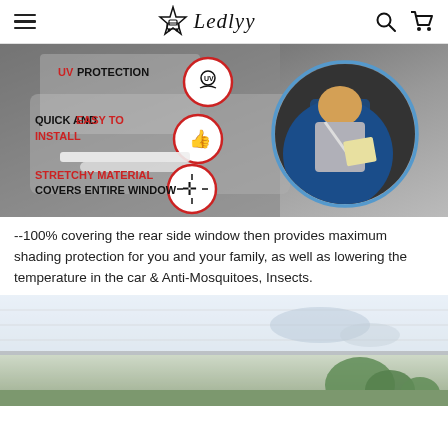Ledlyy
[Figure (infographic): Car window sun shade product infographic showing interior of car with a child in a car seat. Features listed: UV PROTECTION, QUICK AND EASY TO INSTALL, STRETCHY MATERIAL COVERS ENTIRE WINDOW, with icons in red/black circles.]
--100% covering the rear side window then provides maximum shading protection for you and your family, as well as lowering the temperature in the car & Anti-Mosquitoes, Insects.
[Figure (photo): Partial photo of a car window with sun shade applied, showing view through window with blurred landscape.]